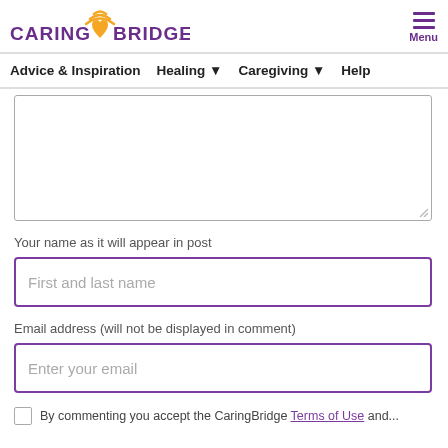CaringBridge logo and Menu
Advice & Inspiration  Healing  Caregiving  Help
[Figure (screenshot): Large empty text area input box for comment]
Your name as it will appear in post
First and last name
Email address (will not be displayed in comment)
Enter your email
By commenting you accept the CaringBridge Terms of Use and...